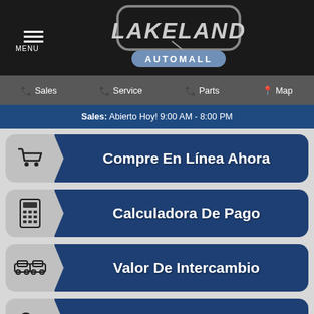[Figure (logo): Lakeland Automall logo on black header bar with hamburger menu icon]
Sales | Service | Parts | Map
Sales: Abierto Hoy! 9:00 AM - 8:00 PM
Compre En Línea Ahora
Calculadora De Pago
Valor De Intercambio
Prueba De Manejo $50